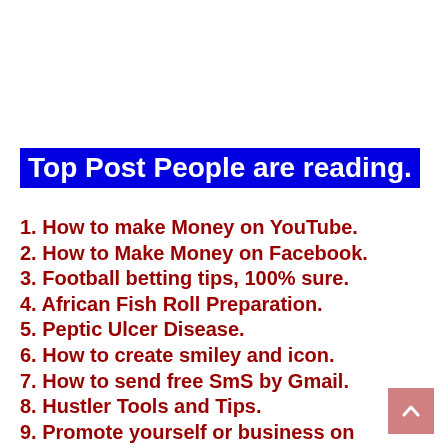Top Post People are reading.
1. How to make Money on YouTube.
2. How to Make Money on Facebook.
3. Football betting tips, 100% sure.
4. African Fish Roll Preparation.
5. Peptic Ulcer Disease.
6. How to create smiley and icon.
7. How to send free SmS by Gmail.
8. Hustler Tools and Tips.
9. Promote yourself or business on Sharpest Arena.
10. How to Create a Blog.
11. How to Submit Sitemap to search